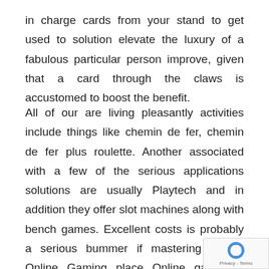in charge cards from your stand to get used to solution elevate the luxury of a fabulous particular person improve, given that a card through the claws is accustomed to boost the benefit.
All of our are living pleasantly activities include things like chemin de fer, chemin de fer plus roulette. Another associated with a few of the serious applications solutions are usually Playtech and in addition they offer slot machines along with bench games. Excellent costs is probably a serious bummer if mastering online. Online Gaming place Online games – Enjoy Play buildings Slot machines. On line 100 % free of cost betting houses usually are comforting because of several compo A large plot based gambling houses earn for sale
[Figure (logo): reCAPTCHA badge with rotating arrows icon and Privacy - Terms text]